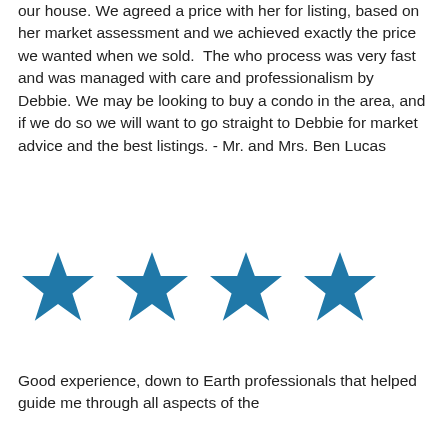our house. We agreed a price with her for listing, based on her market assessment and we achieved exactly the price we wanted when we sold. The who process was very fast and was managed with care and professionalism by Debbie. We may be looking to buy a condo in the area, and if we do so we will want to go straight to Debbie for market advice and the best listings. - Mr. and Mrs. Ben Lucas
[Figure (other): Four blue star icons in a horizontal row representing a 4-star rating]
Good experience, down to Earth professionals that helped guide me through all aspects of the